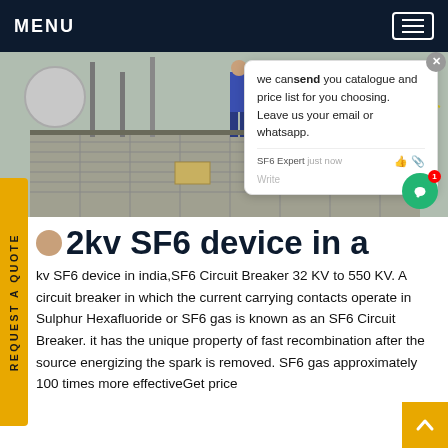MENU
[Figure (photo): Industrial site photo showing workers on a grated walkway with electrical equipment and scaffolding in the background]
we can send you catalogue and price list for you choosing. Leave us your email or whatsapp.
32kv SF6 device in india
32kv SF6 device in india,SF6 Circuit Breaker 32 KV to 550 KV. A circuit breaker in which the current carrying contacts operate in Sulphur Hexafluoride or SF6 gas is known as an SF6 Circuit Breaker. it has the unique property of fast recombination after the source energizing the spark is removed. SF6 gas approximately 100 times more effectiveGet price